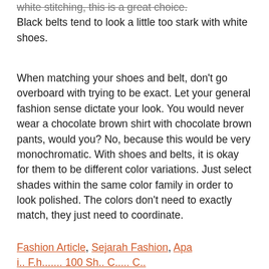white stitching, this is a great choice. Black belts tend to look a little too stark with white shoes.
When matching your shoes and belt, don't go overboard with trying to be exact. Let your general fashion sense dictate your look. You would never wear a chocolate brown shirt with chocolate brown pants, would you? No, because this would be very monochromatic. With shoes and belts, it is okay for them to be different color variations. Just select shades within the same color family in order to look polished. The colors don't need to exactly match, they just need to coordinate.
Fashion Article, Sejarah Fashion, Apa ...